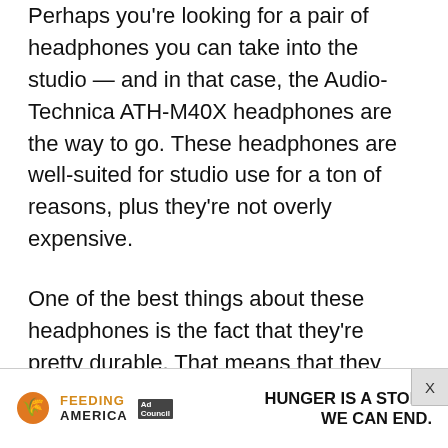Perhaps you're looking for a pair of headphones you can take into the studio — and in that case, the Audio-Technica ATH-M40X headphones are the way to go. These headphones are well-suited for studio use for a ton of reasons, plus they're not overly expensive.
One of the best things about these headphones is the fact that they're pretty durable. That means that they can withstand most day-to-day studio abuse, and musicians know that studio headphones can be thrown around a fair bit. They're also wired, and easy to fold up for
[Figure (other): Advertisement banner for Feeding America Ad Council: 'HUNGER IS A STORY WE CAN END.' with orange and black Feeding America logo and Ad Council badge. An X close button appears at top right.]